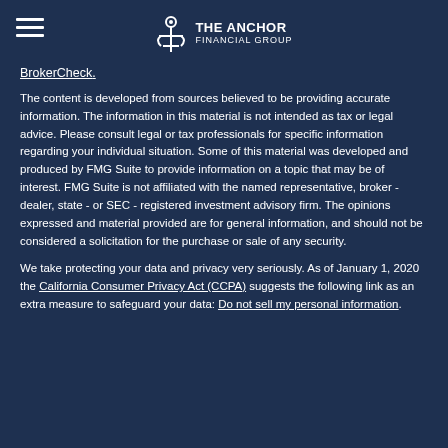THE ANCHOR FINANCIAL GROUP
BrokerCheck.
The content is developed from sources believed to be providing accurate information. The information in this material is not intended as tax or legal advice. Please consult legal or tax professionals for specific information regarding your individual situation. Some of this material was developed and produced by FMG Suite to provide information on a topic that may be of interest. FMG Suite is not affiliated with the named representative, broker - dealer, state - or SEC - registered investment advisory firm. The opinions expressed and material provided are for general information, and should not be considered a solicitation for the purchase or sale of any security.
We take protecting your data and privacy very seriously. As of January 1, 2020 the California Consumer Privacy Act (CCPA) suggests the following link as an extra measure to safeguard your data: Do not sell my personal information.